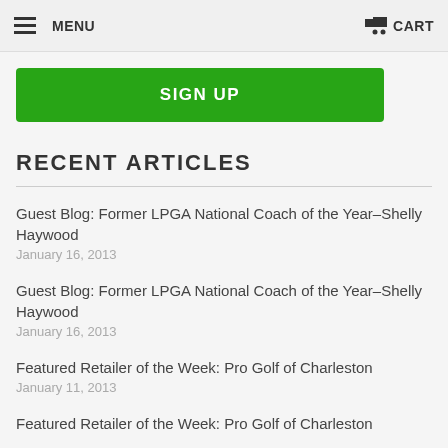MENU  CART
SIGN UP
RECENT ARTICLES
Guest Blog: Former LPGA National Coach of the Year–Shelly Haywood
January 16, 2013
Guest Blog: Former LPGA National Coach of the Year–Shelly Haywood
January 16, 2013
Featured Retailer of the Week: Pro Golf of Charleston
January 11, 2013
Featured Retailer of the Week: Pro Golf of Charleston